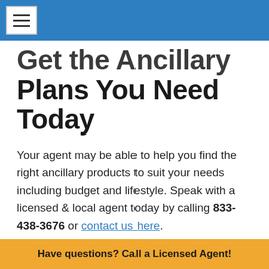Get the Ancillary Plans You Need Today
Your agent may be able to help you find the right ancillary products to suit your needs including budget and lifestyle. Speak with a licensed & local agent today by calling 833-438-3676 or contact us here.
Have questions? Call a Licensed Agent!